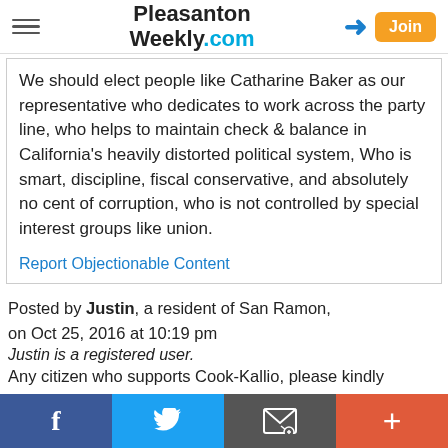Pleasanton Weekly.com
We should elect people like Catharine Baker as our representative who dedicates to work across the party line, who helps to maintain check & balance in California's heavily distorted political system, Who is smart, discipline, fiscal conservative, and absolutely no cent of corruption, who is not controlled by special interest groups like union.
Report Objectionable Content
Posted by Justin, a resident of San Ramon, on Oct 25, 2016 at 10:19 pm
Justin is a registered user.
Any citizen who supports Cook-Kallio, please kindly
f  Twitter  Email  +